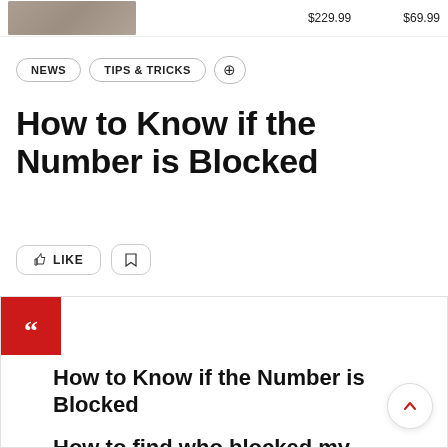$229.99   $69.99
NEWS
TIPS & TRICKS
How to Know if the Number is Blocked
[Figure (other): Like and bookmark action buttons]
How to Know if the Number is Blocked
How to find who blocked my